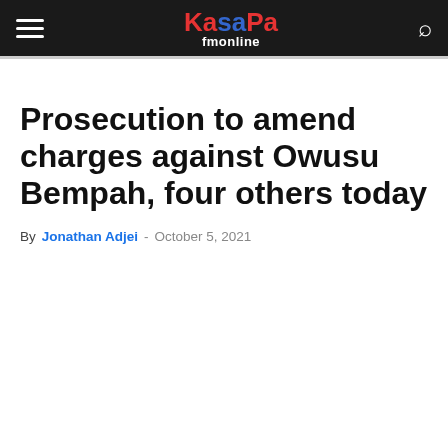Kasapa fmonline
Prosecution to amend charges against Owusu Bempah, four others today
By Jonathan Adjei - October 5, 2021